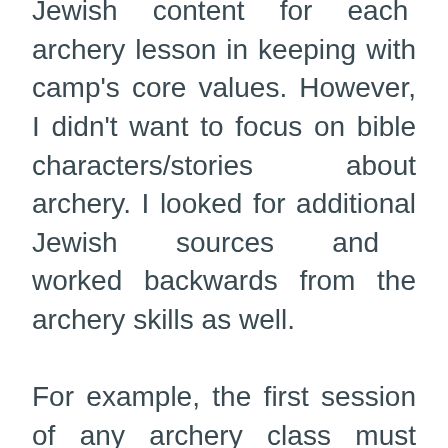Jewish content for each archery lesson in keeping with camp's core values. However, I didn't want to focus on bible characters/stories about archery. I looked for additional Jewish sources and worked backwards from the archery skills as well.

For example, the first session of any archery class must cover range safety. I selected the Jewish value of refraining from lashon hara (gossip or evil speech) to accompany that first class. I devised activities which would help the chalutzim (campers) understand how the value related to archery. After the activity, I made sure to reinforce the lesson: once we